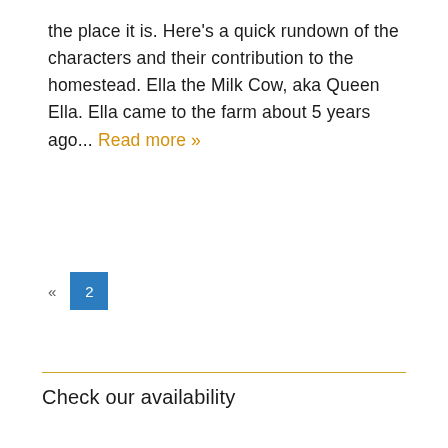the place it is. Here's a quick rundown of the characters and their contribution to the homestead. Ella the Milk Cow, aka Queen Ella. Ella came to the farm about 5 years ago... Read more »
« 2
Check our availability